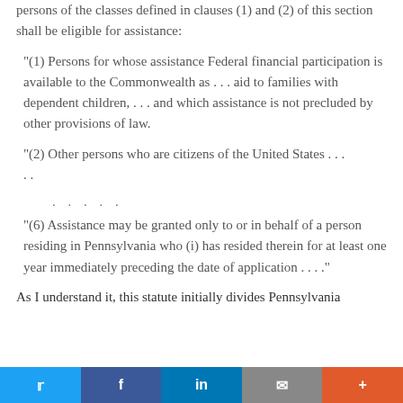persons of the classes defined in clauses (1) and (2) of this section shall be eligible for assistance:
"(1) Persons for whose assistance Federal financial participation is available to the Commonwealth as . . . aid to families with dependent children, . . . and which assistance is not precluded by other provisions of law.
"(2) Other persons who are citizens of the United States . . . . .
. . . . .
"(6) Assistance may be granted only to or in behalf of a person residing in Pennsylvania who (i) has resided therein for at least one year immediately preceding the date of application . . . ."
As I understand it, this statute initially divides Pennsylvania